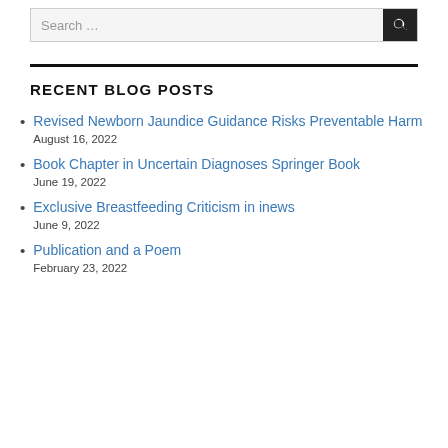Search …
RECENT BLOG POSTS
Revised Newborn Jaundice Guidance Risks Preventable Harm
August 16, 2022
Book Chapter in Uncertain Diagnoses Springer Book
June 19, 2022
Exclusive Breastfeeding Criticism in inews
June 9, 2022
Publication and a Poem
February 23, 2022